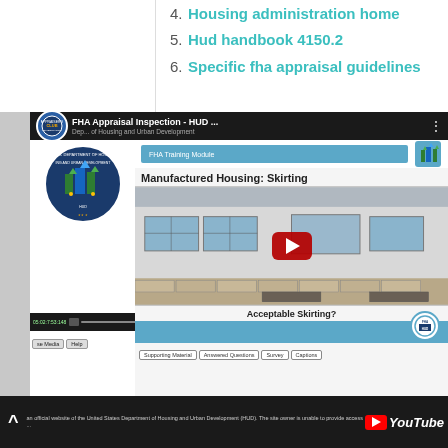4. Housing administration home
5. Hud handbook 4150.2
6. Specific fha appraisal guidelines
[Figure (screenshot): YouTube video embed showing FHA Appraisal Inspection - HUD training module about Manufactured Housing: Skirting, with HUD Department seal on left, play button overlay, and navigation tabs for Supporting Material, Answered Questions, Survey, Captions]
an official website of the United States Department of Housing and Urban Development (HUD). The site owner is unable to provide access...